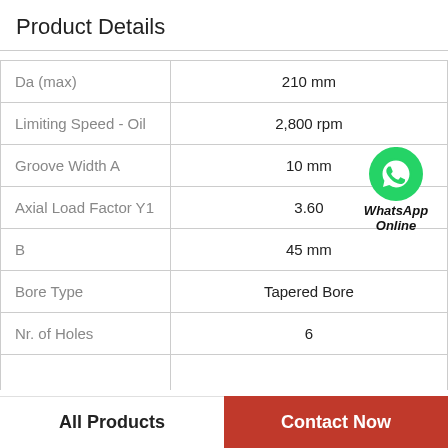Product Details
| Property | Value |
| --- | --- |
| Da (max) | 210 mm |
| Limiting Speed - Oil | 2,800 rpm |
| Groove Width A | 10 mm |
| Axial Load Factor Y1 | 3.60 |
| B | 45 mm |
| Bore Type | Tapered Bore |
| Nr. of Holes | 6 |
|  |  |
[Figure (logo): WhatsApp Online green phone icon with text 'WhatsApp Online' in bold italic]
All Products
Contact Now